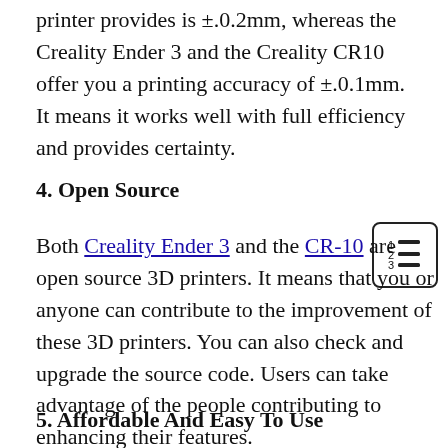printer provides is ±.0.2mm, whereas the Creality Ender 3 and the Creality CR10 offer you a printing accuracy of ±.0.1mm. It means it works well with full efficiency and provides certainty.
4. Open Source
Both Creality Ender 3 and the CR-10 are open source 3D printers. It means that you or anyone can contribute to the improvement of these 3D printers. You can also check and upgrade the source code. Users can take advantage of the people contributing to enhancing their features.
5. Affordable And Easy To Use